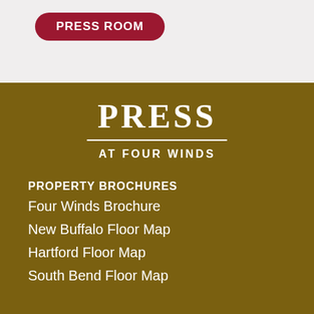PRESS ROOM
PRESS
AT FOUR WINDS
PROPERTY BROCHURES
Four Winds Brochure
New Buffalo Floor Map
Hartford Floor Map
South Bend Floor Map